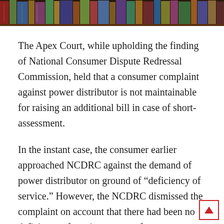[Figure (photo): A row of books on a shelf, viewed from the side, with colorful spines visible.]
The Apex Court, while upholding the finding of National Consumer Dispute Redressal Commission, held that a consumer complaint against power distributor is not maintainable for raising an additional bill in case of short-assessment.
In the instant case, the consumer earlier approached NCDRC against the demand of power distributor on ground of “deficiency of service.” However, the NCDRC dismissed the complaint on account that there had been no deficiency of service on part of power company and an additional bill had been raised for the purpose of recovery of “escaped assessment.”
Aggrieved by the order of NCDRC, the consumer preferred an appeal against the NCDRC’s order. The division bench of the apex court agreed to the finding of NCDRC and observed that